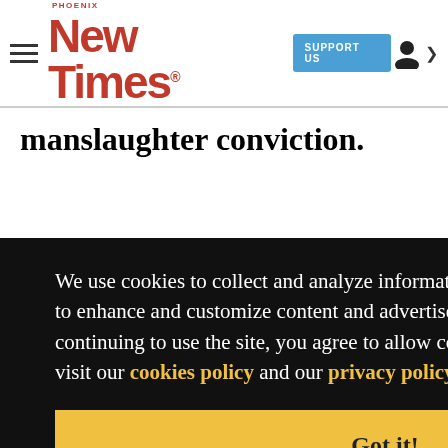Phoenix New Times | SUPPORT US
manslaughter conviction.
We use cookies to collect and analyze information on site performance and usage, and to enhance and customize content and advertisements. By clicking 'Got it' or continuing to use the site, you agree to allow cookies to be placed. To find out more, visit our cookies policy and our privacy policy.
Got it!
sa
-year-
crib,
according to court records.